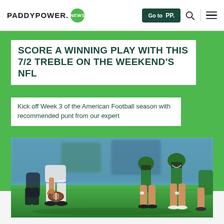PADDYPOWER. NEWS | Go to PP. [search] [menu]
SCORE A WINNING PLAY WITH THIS 7/2 TREBLE ON THE WEEKEND'S NFL
Kick off Week 3 of the American Football season with recommended punt from our expert
[Figure (photo): Close-up photo of American football players at the line of scrimmage, one player holding a football on the grass turf, with players in white and green uniforms visible.]